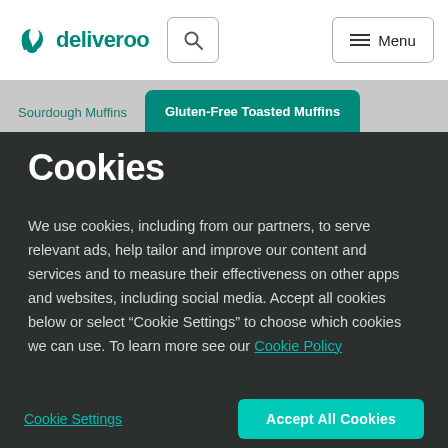[Figure (logo): Deliveroo logo with kangaroo icon and text 'deliveroo' in teal]
Sourdough Muffins | Gluten-Free Toasted Muffins
Cookies
We use cookies, including from our partners, to serve relevant ads, help tailor and improve our content and services and to measure their effectiveness on other apps and websites, including social media. Accept all cookies below or select “Cookie Settings” to choose which cookies we can use. To learn more see our Cookie Policy
Cookie Settings
Accept All Cookies